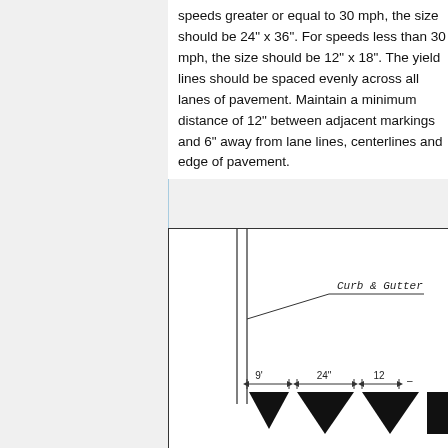speeds greater or equal to 30 mph, the size should be 24" x 36". For speeds less than 30 mph, the size should be 12" x 18". The yield lines should be spaced evenly across all lanes of pavement. Maintain a minimum distance of 12" between adjacent markings and 6" away from lane lines, centerlines and edge of pavement.
[Figure (engineering-diagram): Engineering diagram showing yield line markings on pavement. Two vertical parallel lines representing curb and gutter with a leader label. Below are triangular yield markers (solid black downward-pointing triangles) spaced along the pavement. Dimension annotations show 9', 24", and 12" spacing measurements.]